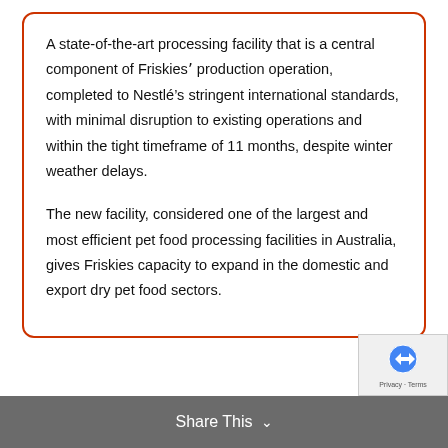A state-of-the-art processing facility that is a central component of Friskies' production operation, completed to Nestlé's stringent international standards, with minimal disruption to existing operations and within the tight timeframe of 11 months, despite winter weather delays.
The new facility, considered one of the largest and most efficient pet food processing facilities in Australia, gives Friskies capacity to expand in the domestic and export dry pet food sectors.
Share This